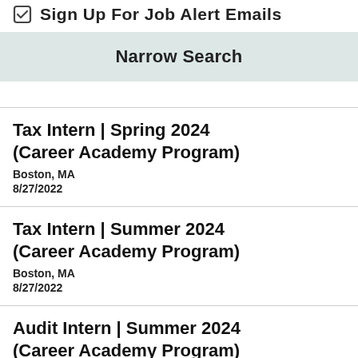Sign Up For Job Alert Emails
Narrow Search
Tax Intern | Spring 2024 (Career Academy Program)
Boston, MA
8/27/2022
Tax Intern | Summer 2024 (Career Academy Program)
Boston, MA
8/27/2022
Audit Intern | Summer 2024 (Career Academy Program)